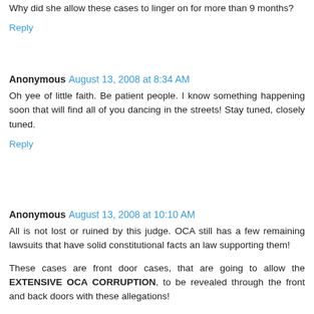Why did she allow these cases to linger on for more than 9 months?
Reply
Anonymous August 13, 2008 at 8:34 AM
Oh yee of little faith. Be patient people. I know something happening soon that will find all of you dancing in the streets! Stay tuned, closely tuned.
Reply
Anonymous August 13, 2008 at 10:10 AM
All is not lost or ruined by this judge. OCA still has a few remaining lawsuits that have solid constitutional facts an law supporting them!
These cases are front door cases, that are going to allow the EXTENSIVE OCA CORRUPTION, to be revealed through the front and back doors with these allegations!